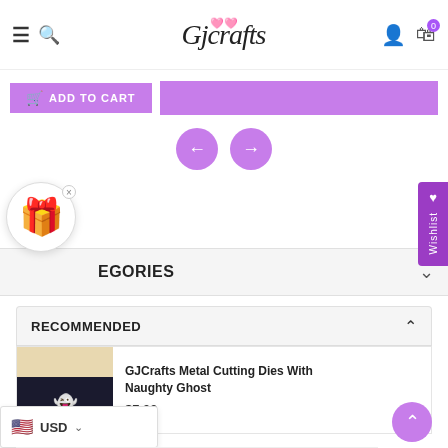GJCrafts website header with navigation icons and logo
ADD TO CART
[Figure (screenshot): Purple navigation arrow buttons (left and right) for product carousel]
[Figure (screenshot): Wishlist vertical tab on right side in purple]
[Figure (illustration): Gift emoji popup with X close button]
EGORIES
RECOMMENDED
GJCrafts Metal Cutting Dies With Naughty Ghost
$7.99
USD